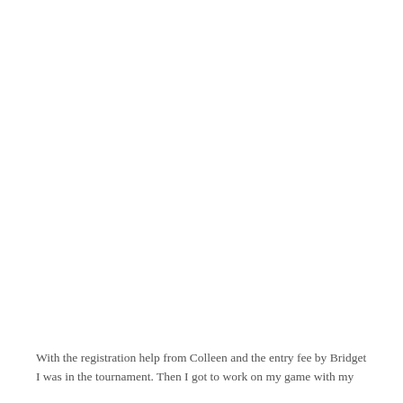With the registration help from Colleen and the entry fee by Bridget I was in the tournament. Then I got to work on my game with my